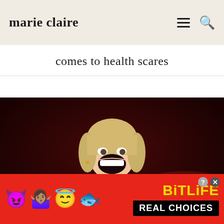marie claire
comes to health scares
[Figure (photo): A blonde woman on stage, laughing/singing with mouth wide open, wearing a white t-shirt with 'MOTHER' print and a colorful floral kimono-style jacket, against a red-lit background]
[Figure (infographic): BitLife mobile game advertisement banner with emoji characters (devil, shrugging person, angel, sperm) and text 'BitLife REAL CHOICES' on red background]